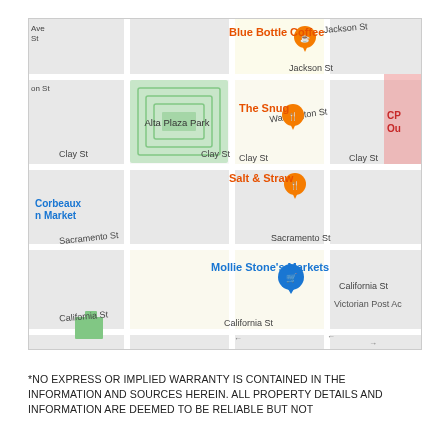[Figure (map): Google Maps screenshot showing Alta Plaza Park neighborhood in San Francisco. Visible landmarks: Blue Bottle Coffee (orange pin), The Snug (orange pin), Salt & Straw (orange pin), Mollie Stone's Markets (blue shopping cart pin), Corbeaux n Market (blue text), Victorian Post Ac (text). Streets labeled: Jackson St, Washington St, Clay St, Sacramento St, California St. Alta Plaza Park shown as green area.]
*NO EXPRESS OR IMPLIED WARRANTY IS CONTAINED IN THE INFORMATION AND SOURCES HEREIN. ALL PROPERTY DETAILS AND INFORMATION ARE DEEMED TO BE RELIABLE BUT NOT